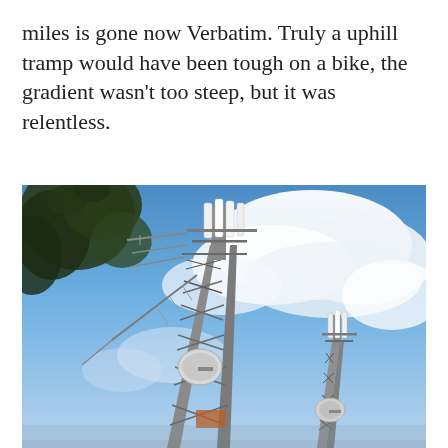miles is gone now Verbatim. Truly a uphill tramp would have been tough on a bike, the gradient wasn't too steep, but it was relentless.
[Figure (photo): Two tall telecommunications/antenna towers photographed from below against a partly cloudy blue sky. A tree with dark leaves is visible in the upper left corner. The main tower in the center-left has multiple antennas and a dish mounted on it, while a second shorter tower is visible in the lower right.]